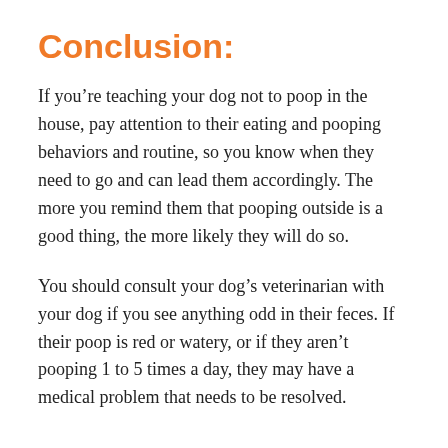Conclusion:
If you're teaching your dog not to poop in the house, pay attention to their eating and pooping behaviors and routine, so you know when they need to go and can lead them accordingly. The more you remind them that pooping outside is a good thing, the more likely they will do so.
You should consult your dog's veterinarian with your dog if you see anything odd in their feces. If their poop is red or watery, or if they aren't pooping 1 to 5 times a day, they may have a medical problem that needs to be resolved.
References